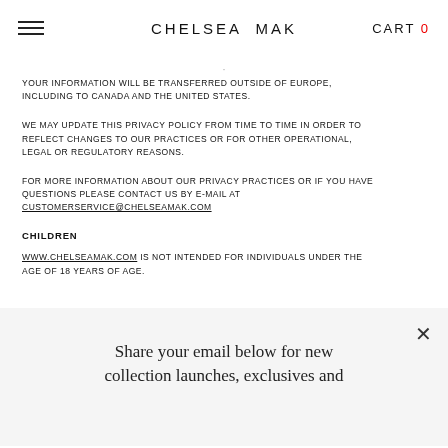CHELSEA MAK  CART 0
YOUR INFORMATION WILL BE TRANSFERRED OUTSIDE OF EUROPE, INCLUDING TO CANADA AND THE UNITED STATES.
WE MAY UPDATE THIS PRIVACY POLICY FROM TIME TO TIME IN ORDER TO REFLECT CHANGES TO OUR PRACTICES OR FOR OTHER OPERATIONAL, LEGAL OR REGULATORY REASONS.
FOR MORE INFORMATION ABOUT OUR PRIVACY PRACTICES OR IF YOU HAVE QUESTIONS PLEASE CONTACT US BY E-MAIL AT CUSTOMERSERVICE@CHELSEAMAK.COM
CHILDREN
WWW.CHELSEAMAK.COM IS NOT INTENDED FOR INDIVIDUALS UNDER THE AGE OF 18 YEARS OF AGE.
Share your email below for new collection launches, exclusives and